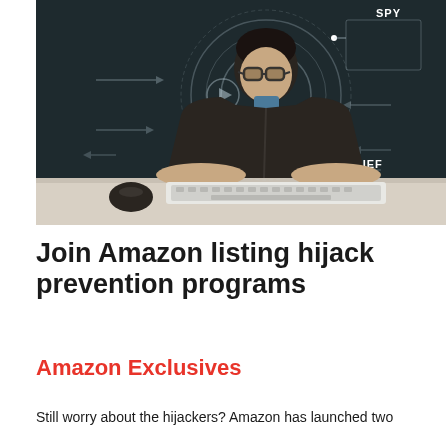[Figure (photo): A young man wearing glasses and a dark hoodie sits at a desk with a keyboard and mouse, looking directly at the camera. Behind him is a dark chalkboard-style background with cyber/hacker themed overlay graphics including geometric lines, arrows, and labeled threat categories: SPY (top right), VIRUS (left middle), THIEF (right middle).]
Join Amazon listing hijack prevention programs
Amazon Exclusives
Still worry about the hijackers? Amazon has launched two